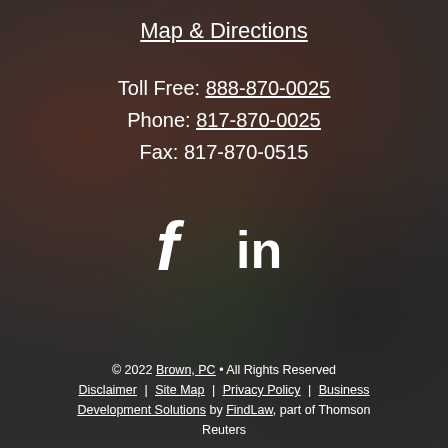Map & Directions
Toll Free: 888-870-0025
Phone: 817-870-0025
Fax: 817-870-0515
[Figure (other): Social media icons: Facebook (f) and LinkedIn (in)]
© 2022 Brown, PC • All Rights Reserved
Disclaimer | Site Map | Privacy Policy | Business Development Solutions by FindLaw, part of Thomson Reuters